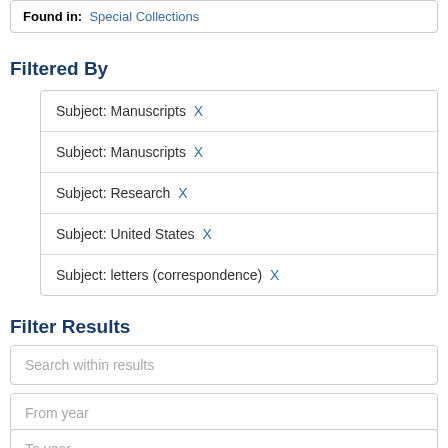Found in: Special Collections
Filtered By
Subject: Manuscripts X
Subject: Manuscripts X
Subject: Research X
Subject: United States X
Subject: letters (correspondence) X
Filter Results
Search within results
From year
To year